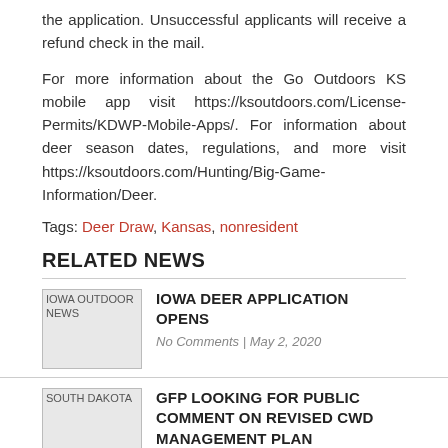the application. Unsuccessful applicants will receive a refund check in the mail.
For more information about the Go Outdoors KS mobile app visit https://ksoutdoors.com/License-Permits/KDWP-Mobile-Apps/. For information about deer season dates, regulations, and more visit https://ksoutdoors.com/Hunting/Big-Game-Information/Deer.
Tags: Deer Draw, Kansas, nonresident
RELATED NEWS
IOWA DEER APPLICATION OPENS
No Comments | May 2, 2020
GFP LOOKING FOR PUBLIC COMMENT ON REVISED CWD MANAGEMENT PLAN
No Comments | Jun 20, 2019